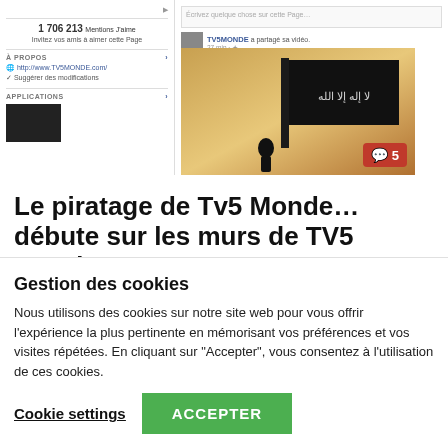[Figure (screenshot): Facebook page screenshot showing TV5MONDE page with 1 706 213 likes, left panel with À PROPOS and APPLICATIONS sections, right panel with a post sharing a video with a black jihadi flag image and a red comment badge showing 5 comments]
Le piratage de Tv5 Monde… débute sur les murs de TV5 Monde
Pour ceux qui regardent le journal télévisé de France 2, vous avez
Gestion des cookies
Nous utilisons des cookies sur notre site web pour vous offrir l'expérience la plus pertinente en mémorisant vos préférences et vos visites répétées. En cliquant sur "Accepter", vous consentez à l'utilisation de ces cookies.
Cookie settings   ACCEPTER